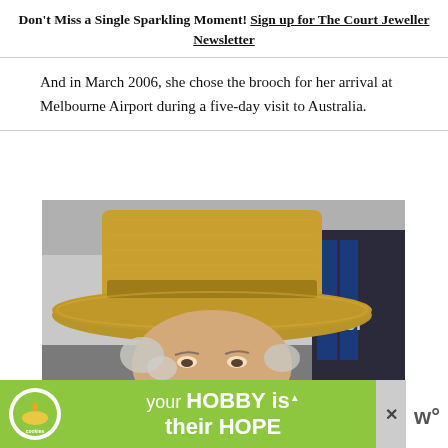Don't Miss a Single Sparkling Moment! Sign up for The Court Jeweller Newsletter
And in March 2006, she chose the brooch for her arrival at Melbourne Airport during a five-day visit to Australia.
[Figure (photo): Close-up photograph of a woman wearing a golden/tan straw hat with a wide brim and a gold ribbon band. The person has white/grey hair visible beneath the hat. In the background, partially visible text reading 'Carol' can be seen.]
[Figure (infographic): Advertisement banner: green background with 'cookies for kid's cancer' logo on left (white circle with image of hands holding a heart-shaped cookie), centre text 'your HOBBY is their HOPE' in white, close button X on right, and a small logo on far right.]